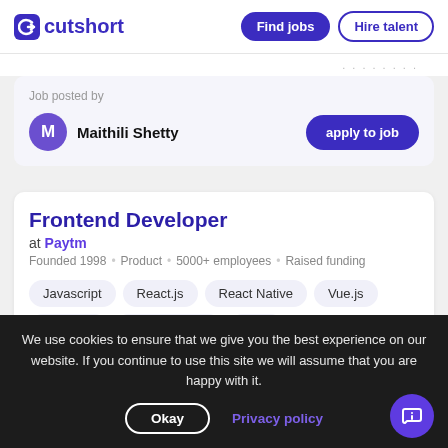cutshort | Find jobs | Hire talent
Job posted by
Maithili Shetty
apply to job
Frontend Developer
at Paytm
Founded 1998 • Product • 5000+ employees • Raised funding
Javascript
React.js
React Native
Vue.js
webpack
RESTful APIs
CSS
We use cookies to ensure that we give you the best experience on our website. If you continue to use this site we will assume that you are happy with it.
Okay | Privacy policy